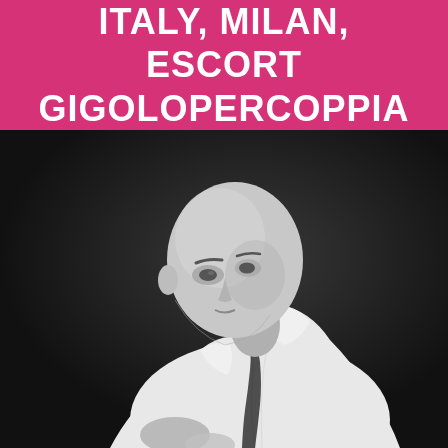ITALY, MILAN, ESCORT GIGOLOPERCOPPIA
[Figure (photo): Black and white portrait photograph of a bald man in a white dress shirt leaning forward, dark background]